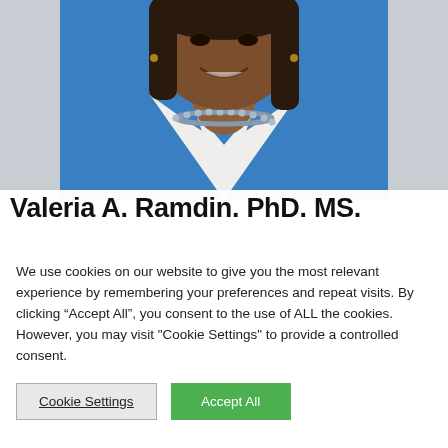[Figure (photo): Professional headshot of Valeria A. Ramdin, a woman wearing a blue blazer over a white collared shirt and a grey pearl necklace, smiling, with long dark hair.]
Valeria A. Ramdin. PhD. MS.
We use cookies on our website to give you the most relevant experience by remembering your preferences and repeat visits. By clicking “Accept All”, you consent to the use of ALL the cookies. However, you may visit "Cookie Settings" to provide a controlled consent.
Cookie Settings
Accept All